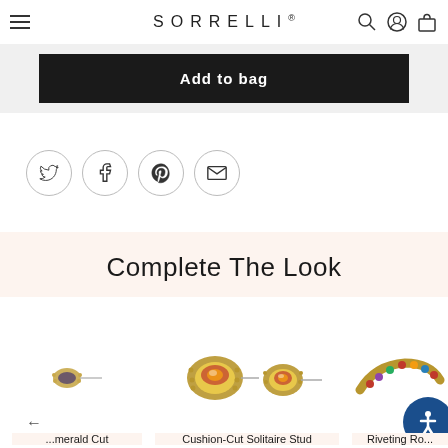SORRELLI®
Add to bag
[Figure (screenshot): Social sharing icons row: Twitter, Facebook, Pinterest, Email — each in a circular border]
Complete The Look
[Figure (photo): Product card: small gold stud earring with dark stone, navigation arrow pointing left]
[Figure (photo): Product card: Cushion-Cut Solitaire Stud earrings with colorful gemstone settings, shown as a pair]
[Figure (photo): Product card: Riveting Ro... ring with colorful gemstones, partially visible]
merald Cut
Cushion-Cut Solitaire Stud
Riveting Ro